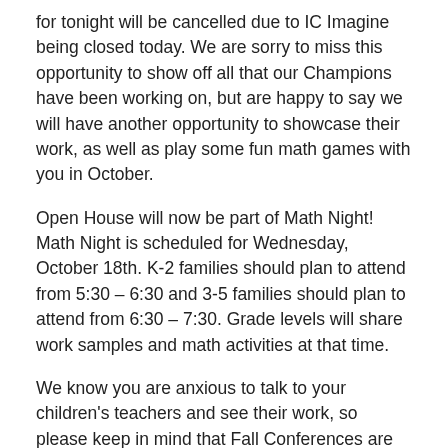for tonight will be cancelled due to IC Imagine being closed today. We are sorry to miss this opportunity to show off all that our Champions have been working on, but are happy to say we will have another opportunity to showcase their work, as well as play some fun math games with you in October.
Open House will now be part of Math Night! Math Night is scheduled for Wednesday, October 18th. K-2 families should plan to attend from 5:30 – 6:30 and 3-5 families should plan to attend from 6:30 – 7:30. Grade levels will share work samples and math activities at that time.
We know you are anxious to talk to your children's teachers and see their work, so please keep in mind that Fall Conferences are currently happening and, as always, we encourage you to reach out to your child's teacher with any questions you may have.